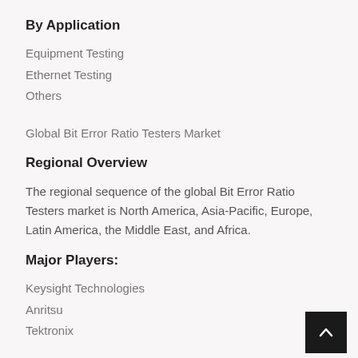By Application
Equipment Testing
Ethernet Testing
Others
Global Bit Error Ratio Testers Market
Regional Overview
The regional sequence of the global Bit Error Ratio Testers market is North America, Asia-Pacific, Europe, Latin America, the Middle East, and Africa.
Major Players:
Keysight Technologies
Anritsu
Tektronix